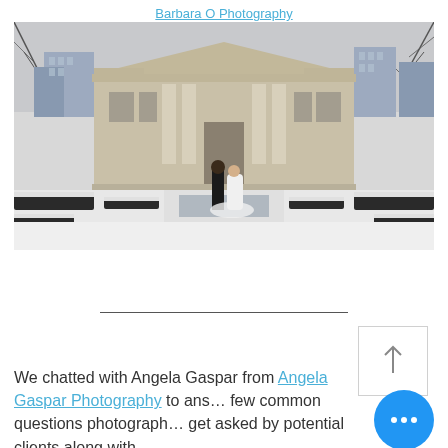Barbara O Photography
[Figure (photo): Wedding couple standing in a snow-covered formal garden in front of a classical stone museum building with columns, surrounded by snow-covered hedges, city skyline visible in background.]
We chatted with Angela Gaspar from Angela Gaspar Photography to answer a few common questions photographers get asked by potential clients along with